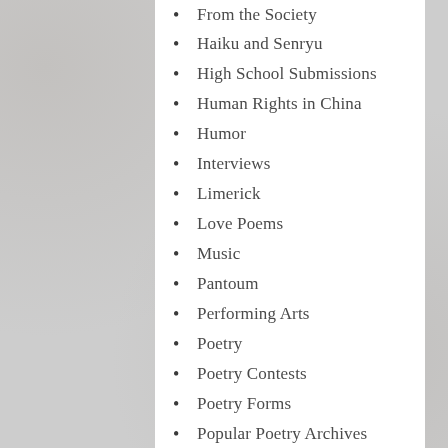From the Society
Haiku and Senryu
High School Submissions
Human Rights in China
Humor
Interviews
Limerick
Love Poems
Music
Pantoum
Performing Arts
Poetry
Poetry Contests
Poetry Forms
Popular Poetry Archives
Readings
Reviews
Riddles
Rondeau
Rondeau Redoublé
Rondel
Sapphic Verse